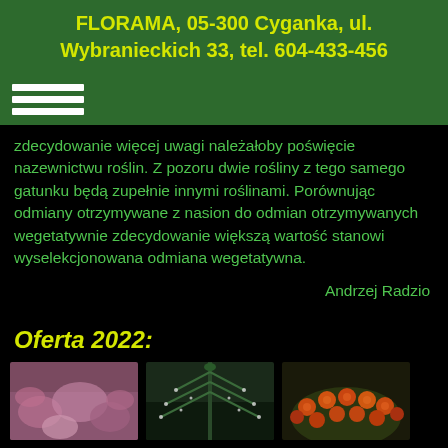FLORAMA, 05-300 Cyganka, ul. Wybranieckich 33, tel. 604-433-456
Zdecydowanie więcej uwagi należałoby poświęcie nazewnictwu roślin. Z pozoru dwie rośliny z tego samego gatunku będą zupełnie innymi roślinami. Porównując odmiany otrzymywane z nasion do odmian otrzymywanych wegetatywnie zdecydowanie większą wartość stanowi wyselekcjonowana odmiana wegetatywna.
Andrzej Radzio
Oferta 2022:
[Figure (photo): Photo of pink/purple flowering plant, possibly heather]
[Figure (photo): Photo of a dark green coniferous plant with drooping branches]
[Figure (photo): Photo of orange/red berries on a plant]